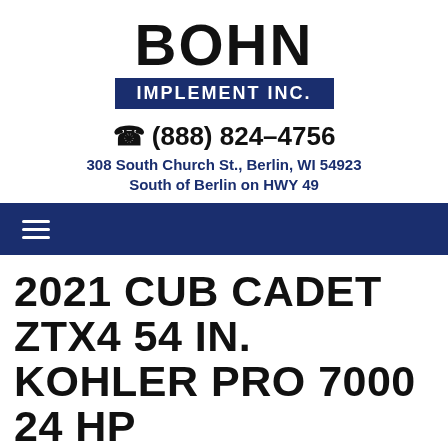BOHN
IMPLEMENT INC.
(888) 824-4756
308 South Church St., Berlin, WI 54923
South of Berlin on HWY 49
2021 CUB CADET ZTX4 54 IN. KOHLER PRO 7000 24 HP
New Lawn Mowers - Riding • Ultima ZT